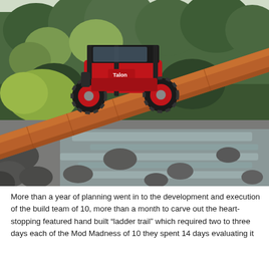[Figure (photo): A red Honda Talon side-by-side UTV / off-road vehicle driving over a large fallen log across a rocky mountain creek in a lush green forested setting. The vehicle is red and black, elevated on the log with water and rocks visible below.]
More than a year of planning went in to the development and execution of the build team of 10, more than a month to carve out the heart-stopping featured hand built "ladder trail" which required two to three days each of the Mod Madness of 10 they spent 14 days evaluating it